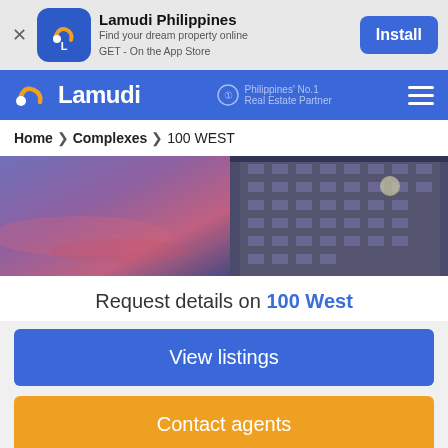[Figure (screenshot): App install banner for Lamudi Philippines with close button, app icon, app name, tagline, and Install button]
[Figure (screenshot): Lamudi Philippines blue navigation bar with logo, 'Philippines No.1 Real Estate Partner' text, and hamburger menu]
Home > Complexes > 100 WEST
[Figure (photo): Property photo of 100 West building showing exterior at dusk with purple/pink sky and building facade]
Request details on 100 West
View listings
Contact agents